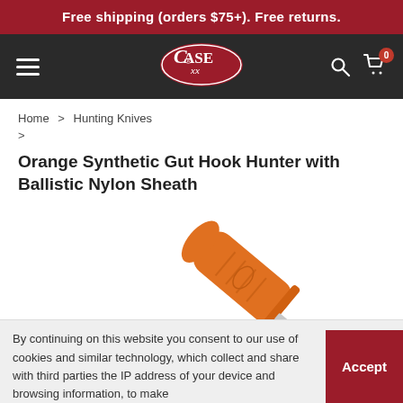Free shipping (orders $75+). Free returns.
[Figure (logo): Case XX Knives logo — white oval with red background and serif 'CASE xx' text, navigation bar with hamburger menu, search icon, and cart icon with badge '0']
Home > Hunting Knives >
Orange Synthetic Gut Hook Hunter with Ballistic Nylon Sheath
[Figure (photo): Orange synthetic handle gut hook hunting knife with a silver blade, shown diagonally pointing lower-left, handle at upper-right]
By continuing on this website you consent to our use of cookies and similar technology, which collect and share with third parties the IP address of your device and browsing information, to make